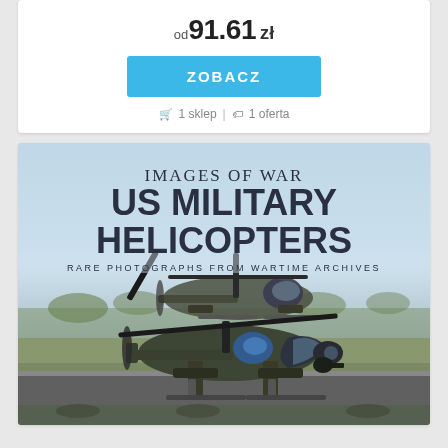od 91.61 zł
ZOBACZ
🛒 1 sklep | 🏷 1 oferta
[Figure (photo): Book cover: Images of War - US Military Helicopters, Rare Photographs from Wartime Archives. Shows two Apache military helicopters on ground with desert/scrub background.]